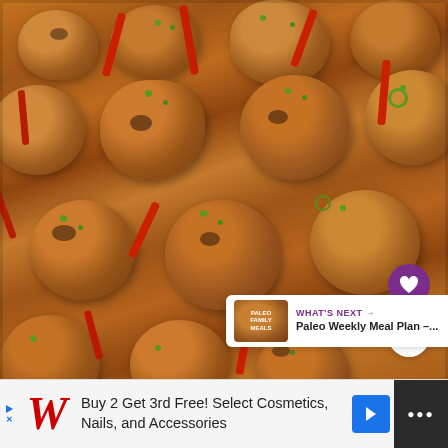[Figure (photo): Close-up photo of cooked meatballs with red pepper strips, orange sauce, and chopped green onions, with UI overlay buttons (heart, share) and a 'What's Next' card showing 'Paleo Weekly Meal Plan –...']
WHAT'S NEXT → Paleo Weekly Meal Plan –...
Buy 2 Get 3rd Free! Select Cosmetics, Nails, and Accessories